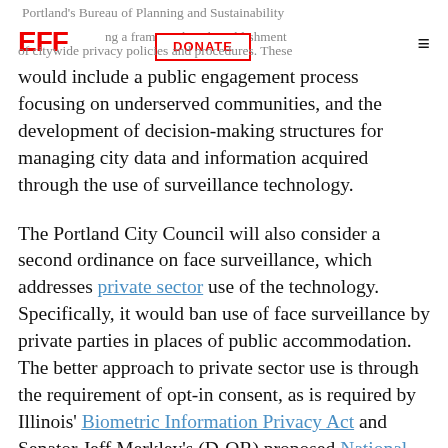Portland's Bureau of Planning and Sustainability [EFF logo] [DONATE button] ing a framework and establishment of citywide privacy policies and procedures. These
would include a public engagement process focusing on underserved communities, and the development of decision-making structures for managing city data and information acquired through the use of surveillance technology.
The Portland City Council will also consider a second ordinance on face surveillance, which addresses private sector use of the technology. Specifically, it would ban use of face surveillance by private parties in places of public accommodation. The better approach to private sector use is through the requirement of opt-in consent, as is required by Illinois' Biometric Information Privacy Act and Senator Jeff Merkley's (D-OR) proposed National